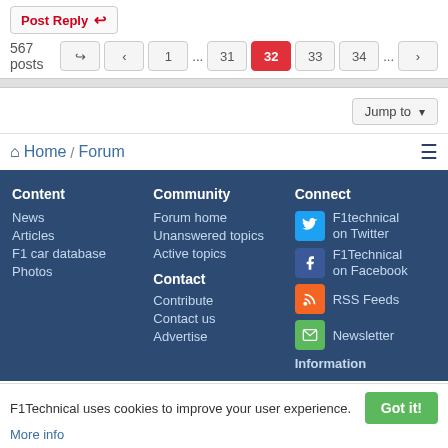Post Reply
567 posts   1 ... 31  32  33  34 ...
Jump to
🏠 Home / Forum ≡
Content
News
Articles
F1 car database
Photos
Community
Forum home
Unanswered topics
Active topics
Contact
Contribute
Contact us
Advertise
Connect
F1technical on Twitter
F1Technical on Facebook
RSS Feeds
Newsletter
Information
F1Technical uses cookies to improve your user experience. Got it!
More info